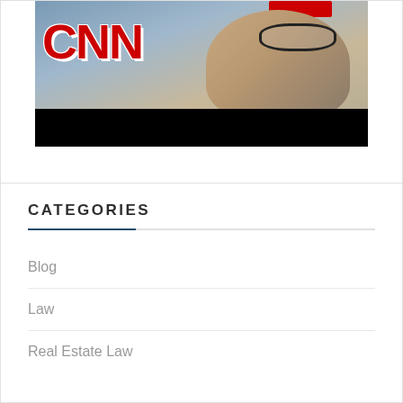[Figure (screenshot): CNN video screenshot showing CNN logo in red on left and a person with glasses on right, with a black bar at the bottom]
CATEGORIES
Blog
Law
Real Estate Law